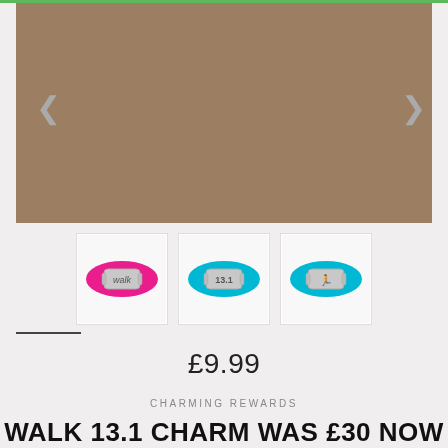[Figure (photo): Main product image area with brownish-tan background, navigation arrows on left and right sides]
[Figure (photo): Three product thumbnail images side by side: 1) Pink cord bracelet with silver 'walk' charm, 2) Teal/turquoise cord bracelet with silver '13.1' charm, 3) Teal/turquoise cord bracelet with silver running figure charm]
£9.99
CHARMING REWARDS
WALK 13.1 CHARM WAS £30 NOW